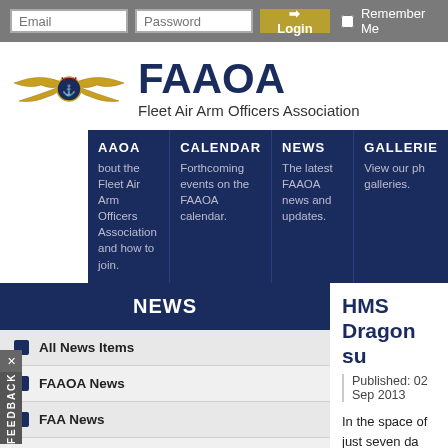Email | Password | Login | Remember Me
[Figure (logo): Fleet Air Arm Officers Association (FAAOA) logo with crowned wings badge]
FAAOA
Fleet Air Arm Officers Association
FAAOA | CALENDAR | NEWS | GALLERIES
About the Fleet Air Arm Officers Association and how to join. | Forthcoming events on the FAAOA calendar. | The latest FAAOA news and updates. | View our photo galleries.
NEWS
All News Items
FAAOA News
FAA News
RN News
Other News
HMS Dragon su
Published: 02 Sep 2013
In the space of just seven da four different types of aircra
One of the Navy's fleet of br a large flight deck which car